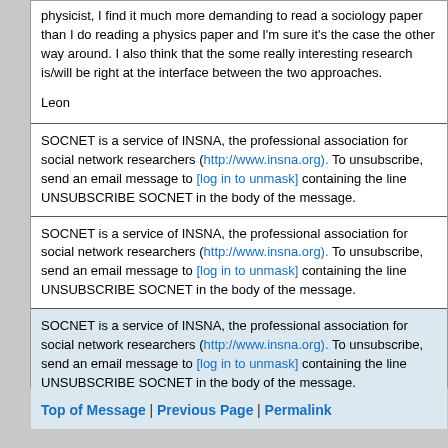physicist, I find it much more demanding to read a sociology paper than I do reading a physics paper and I'm sure it's the case the other way around. I also think that the some really interesting research is/will be right at the interface between the two approaches.
Leon
SOCNET is a service of INSNA, the professional association for social network researchers (http://www.insna.org). To unsubscribe, send an email message to [log in to unmask] containing the line UNSUBSCRIBE SOCNET in the body of the message.
SOCNET is a service of INSNA, the professional association for social network researchers (http://www.insna.org). To unsubscribe, send an email message to [log in to unmask] containing the line UNSUBSCRIBE SOCNET in the body of the message.
SOCNET is a service of INSNA, the professional association for social network researchers (http://www.insna.org). To unsubscribe, send an email message to [log in to unmask] containing the line UNSUBSCRIBE SOCNET in the body of the message.
Top of Message | Previous Page | Permalink